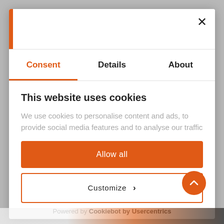[Figure (screenshot): Cookie consent modal dialog with tabs: Consent (active, orange), Details, About. Contains title 'This website uses cookies', description text, 'Allow all' orange button, 'Customize' outline button, and 'Powered by Cookiebot by Usercentrics' footer. Orange scroll-up button in bottom right.]
Consent
Details
About
This website uses cookies
We use cookies to personalise content and ads, to provide social media features and to analyse our traffic
Allow all
Customize ›
Powered by Cookiebot by Usercentrics